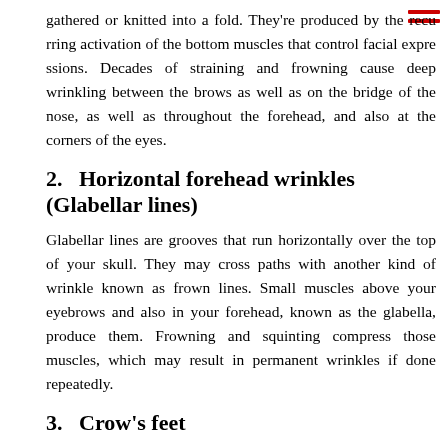gathered or knitted into a fold. They're produced by the recurring activation of the bottom muscles that control facial expressions. Decades of straining and frowning cause deep wrinkling between the brows as well as on the bridge of the nose, as well as throughout the forehead, and also at the corners of the eyes.
2.   Horizontal forehead wrinkles (Glabellar lines)
Glabellar lines are grooves that run horizontally over the top of your skull. They may cross paths with another kind of wrinkle known as frown lines. Small muscles above your eyebrows and also in your forehead, known as the glabella, produce them. Frowning and squinting compress those muscles, which may result in permanent wrinkles if done repeatedly.
3.   Crow's feet
The fine creases and wrinkles in the corner of your eyes are referred to as crow's feet. The appearance of crow's feet may be caused by both static and dynamic wrinkles. Natural phenomena such as gravity and age generate static wrinkles. Face expressions are thought to be the primary source of dynamic wrinkles. Every